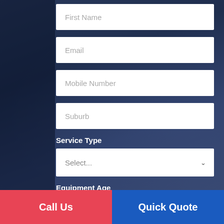First Name
Email
Mobile Number
Suburb
Service Type
Select...
Equipment Age
Select...
Call Us
Quick Quote